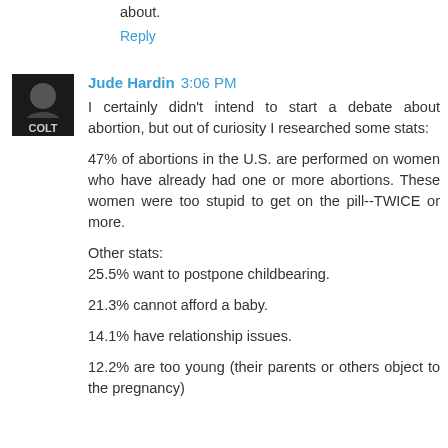about.
Reply
Jude Hardin 3:06 PM
I certainly didn't intend to start a debate about abortion, but out of curiosity I researched some stats:
47% of abortions in the U.S. are performed on women who have already had one or more abortions. These women were too stupid to get on the pill--TWICE or more.
Other stats:
25.5% want to postpone childbearing.
21.3% cannot afford a baby.
14.1% have relationship issues.
12.2% are too young (their parents or others object to the pregnancy)